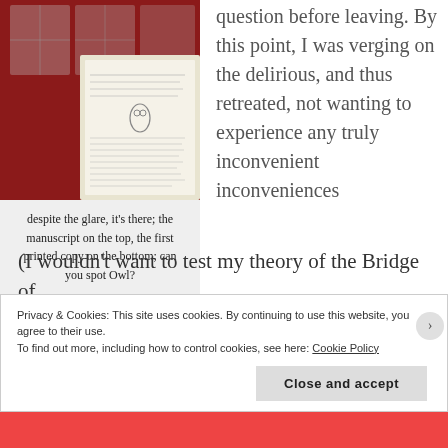[Figure (photo): Photo of a book/manuscript with red background showing glare, manuscript on top and first printed copy on bottom]
despite the glare, it's there; the manuscript on the top, the first printed copy on the bottom; can you spot Owl?
question before leaving. By this point, I was verging on the delirious, and thus retreated, not wanting to experience any truly inconvenient inconveniences
(I wouldn't want to test my theory of the Bridge of
Privacy & Cookies: This site uses cookies. By continuing to use this website, you agree to their use.
To find out more, including how to control cookies, see here: Cookie Policy
Close and accept